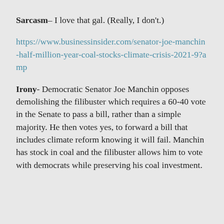Sarcasm– I love that gal. (Really, I don't.)
https://www.businessinsider.com/senator-joe-manchin-half-million-year-coal-stocks-climate-crisis-2021-9?amp
Irony- Democratic Senator Joe Manchin opposes demolishing the filibuster which requires a 60-40 vote in the Senate to pass a bill, rather than a simple majority. He then votes yes, to forward a bill that includes climate reform knowing it will fail. Manchin has stock in coal and the filibuster allows him to vote with democrats while preserving his coal investment.